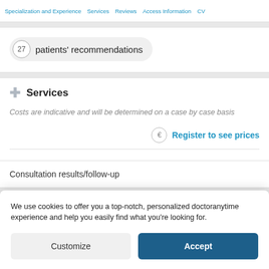Specialization and Experience  Services  Reviews  Access Information  CV
27 patients' recommendations
Services
Costs are indicative and will be determined on a case by case basis
Register to see prices
Consultation results/follow-up
We use cookies to offer you a top-notch, personalized doctoranytime experience and help you easily find what you're looking for.
Customize  Accept